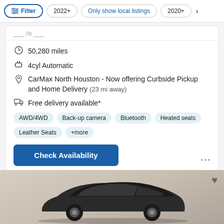Filter | 2022+ | Only show local listings | 2020+
50,280 miles
4cyl Automatic
CarMax North Houston - Now offering Curbside Pickup and Home Delivery (23 mi away)
Free delivery available*
AWD/4WD
Back-up camera
Bluetooth
Heated seats
Leather Seats
+more
Check Availability
[Figure (photo): Partial view of a dark-colored SUV/crossover vehicle from the rear quarter, shown in a photography studio with light beige/tan background.]